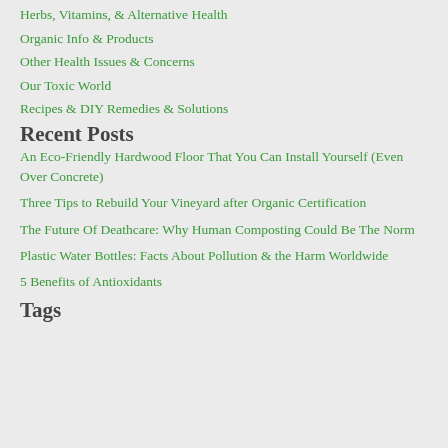Herbs, Vitamins, & Alternative Health
Organic Info & Products
Other Health Issues & Concerns
Our Toxic World
Recipes & DIY Remedies & Solutions
Recent Posts
An Eco-Friendly Hardwood Floor That You Can Install Yourself (Even Over Concrete)
Three Tips to Rebuild Your Vineyard after Organic Certification
The Future Of Deathcare: Why Human Composting Could Be The Norm
Plastic Water Bottles: Facts About Pollution & the Harm Worldwide
5 Benefits of Antioxidants
Tags